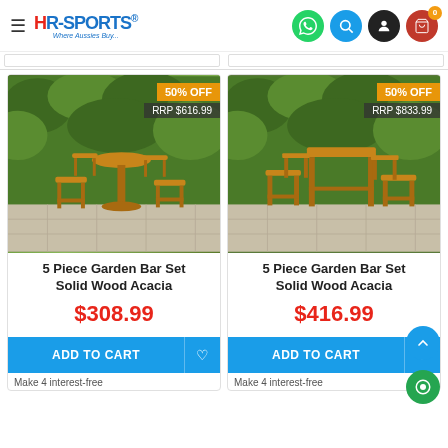HR-SPORTS Where Aussies Buy...
[Figure (photo): 5 Piece Garden Bar Set Solid Wood Acacia - outdoor bar table with stools, 50% OFF RRP $616.99]
5 Piece Garden Bar Set Solid Wood Acacia
$308.99
ADD TO CART
Make 4 interest-free
[Figure (photo): 5 Piece Garden Bar Set Solid Wood Acacia - outdoor bar table with stools, 50% OFF RRP $833.99]
5 Piece Garden Bar Set Solid Wood Acacia
$416.99
ADD TO CART
Make 4 interest-free